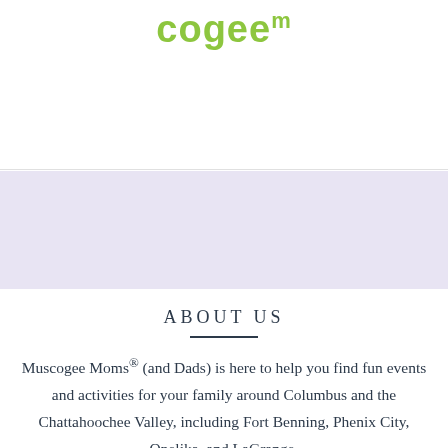[Figure (logo): Partial green stylized logo text reading 'cogee' or similar, in lime green on white background]
ABOUT US
Muscogee Moms® (and Dads) is here to help you find fun events and activities for your family around Columbus and the Chattahoochee Valley, including Fort Benning, Phenix City, Opelika, and LaGrange.